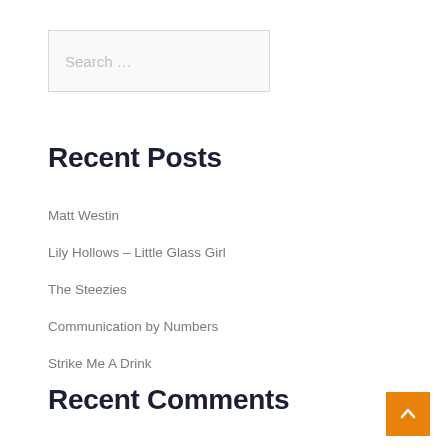Search …
Recent Posts
Matt Westin
Lily Hollows – Little Glass Girl
The Steezies
Communication by Numbers
Strike Me A Drink
Recent Comments